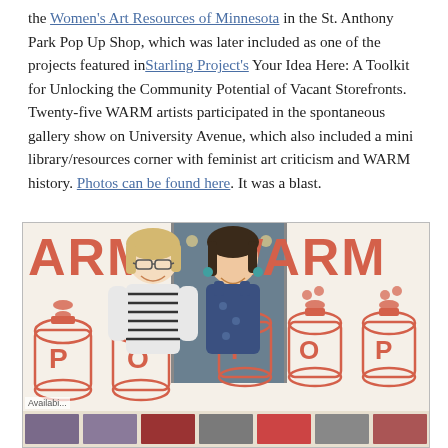the Women's Art Resources of Minnesota in the St. Anthony Park Pop Up Shop, which was later included as one of the projects featured in Starling Project's Your Idea Here: A Toolkit for Unlocking the Community Potential of Vacant Storefronts. Twenty-five WARM artists participated in the spontaneous gallery show on University Avenue, which also included a mini library/resources corner with feminist art criticism and WARM history. Photos can be found here. It was a blast.
[Figure (photo): Two women standing in front of a banner with salmon/coral colored WARM POP bottle designs. The banner shows large soda bottle graphics with the letters ARM on the left side and WARM on the right side, with POP written on the bottles. There is a storefront window in the background. Below the people is a display table with books/materials. A sign partially reading 'Availabi...' is visible on the lower left.]